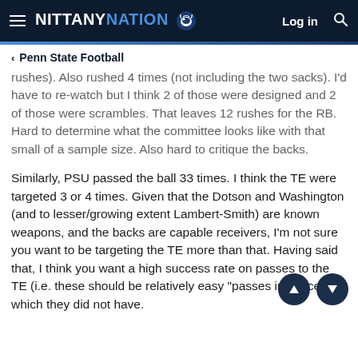NITTANY NATION — Log in [search]
Penn State Football
rushes). Also rushed 4 times (not including the two sacks). I'd have to re-watch but I think 2 of those were designed and 2 of those were scrambles. That leaves 12 rushes for the RB. Hard to determine what the committee looks like with that small of a sample size. Also hard to critique the backs.
Similarly, PSU passed the ball 33 times. I think the TE were targeted 3 or 4 times. Given that the Dotson and Washington (and to lesser/growing extent Lambert-Smith) are known weapons, and the backs are capable receivers, I'm not sure you want to be targeting the TE more than that. Having said that, I think you want a high success rate on passes to the TE (i.e. these should be relatively easy "passes in space) which they did not have.